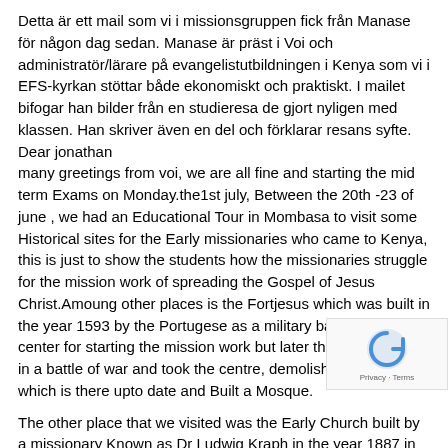Detta är ett mail som vi i missionsgruppen fick från Manase för någon dag sedan. Manase är präst i Voi och administratör/lärare på evangelistutbildningen i Kenya som vi i EFS-kyrkan stöttar både ekonomiskt och praktiskt. I mailet bifogar han bilder från en studieresa de gjort nyligen med klassen. Han skriver även en del och förklarar resans syfte.
Dear jonathan
many greetings from voi, we are all fine and starting the mid term Exams on Monday.the1st july, Between the 20th -23 of june , we had an Educational Tour in Mombasa to visit some Historical sites for the Early missionaries who came to Kenya, this is just to show the students how the missionaries struggle for the mission work of spreading the Gospel of Jesus Christ.Amoung other places is the Fortjesus which was built in the year 1593 by the Portugese as a military base and also a center for starting the mission work but later the Arabs took it in a battle of war and took the centre, demolish the Chapel which is there upto date and Built a Mosque.
The other place that we visited was the Early Church built by a missionary Known as Dr Ludwig Kraph in the year 1887 in Rabai, about 20 km from Mombasa island,They got History of the Early church and even visited the Tombs, where some of them were buried. and they finished the trip by having an open air crusade in a place called Kambe,